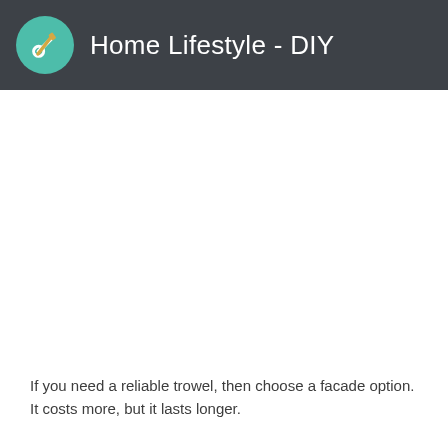Home Lifestyle - DIY
If you need a reliable trowel, then choose a facade option. It costs more, but it lasts longer.